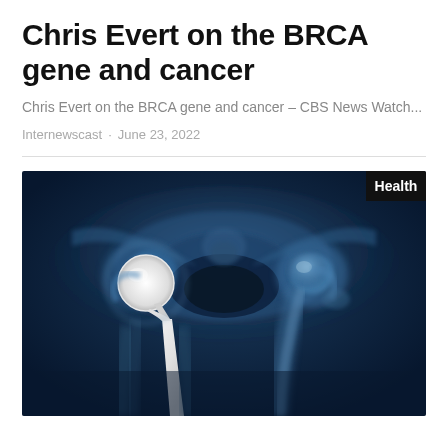Chris Evert on the BRCA gene and cancer
Chris Evert on the BRCA gene and cancer – CBS News Watch...
Internewscast · June 23, 2022
[Figure (photo): X-ray image of pelvis showing a hip replacement prosthesis on the left side (bright white metallic implant) and natural bone on the right side. Dark blue tones typical of medical radiograph. A black badge reading 'Health' is overlaid in the top-right corner of the image.]